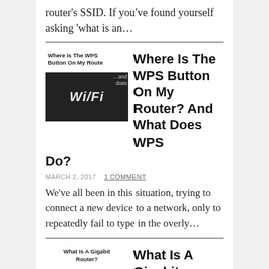router's SSID. If you've found yourself asking 'what is an...
Where Is The WPS Button On My Router? And What Does WPS Do?
MARCH 2, 2017   1 COMMENT
We've all been in this situation, trying to connect a new device to a network, only to repeatedly fail to type in the overly...
What Is A Gigabit Router?